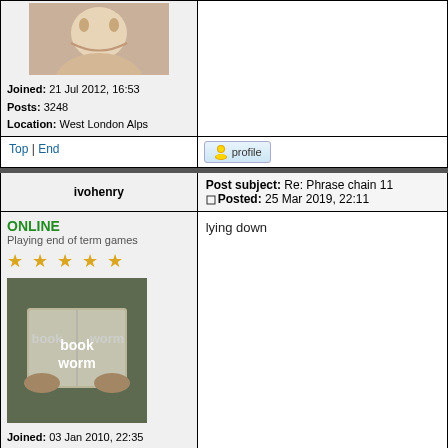| User | Post |
| --- | --- |
| Joined: 21 Jul 2012, 16:53
Posts: 3248
Location: West London Alps |  |
| Top | End | profile |
| ivohenry | Post subject: Re: Phrase chain 11
Posted: 25 Mar 2019, 22:11 |
| ONLINE
Playing end of term games
★★★★★
book worm
Joined: 03 Jan 2010, 22:35
Posts: 2527
Location: Berkshire, England | lying down |
| Top | End | profile |
| MaryR | Post subject: Re: Phrase chain 11
Posted: 26 Mar 2019, |